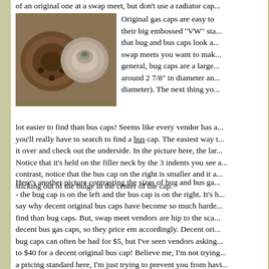of an original one at a swap meet, but don't use a radiator cap...
[Figure (photo): Two vintage VW gas caps side by side - a larger bug cap on the left and a smaller bus cap on the right, both showing wear and patina]
Original gas caps are easy to identify by their big embossed "VW" stamp. Note that bug and bus caps look alike, so at swap meets you want to make sure that in general, bug caps are a larger cap (around 2 7/8" in diameter and bus caps diameter). The next thing you... lot easier to find than bus caps! Seems like every vendor has a... you'll really have to search to find a bus cap. The easiest way to... it over and check out the underside. In the picture here, the lar... Notice that it's held on the filler neck by the 3 indents you see a... contrast, notice that the bus cap on the right is smaller and it a... sticking out of the bulge in the center of the cap.
Here's another picture contrasting the sizes of bug and bus ga... - the bug cap is on the left and the bus cap is on the right. It's h... say why decent original bus caps have become so much harde... find than bug caps. But, swap meet vendors are hip to the sca... decent bus gas caps, so they price em accordingly. Decent ori... bug caps can often be had for $5, but I've seen vendors asking... to $40 for a decent original bus cap! Believe me, I'm not trying... a pricing standard here, I'm just trying to prevent you from havi... for a nice original bus cap. There is some good news here thou...